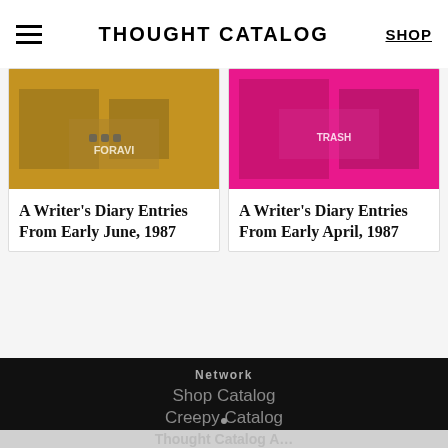THOUGHT CATALOG | SHOP
[Figure (photo): Sepia-toned street scene photo with 'FORAVI' text visible]
A Writer’s Diary Entries From Early June, 1987
[Figure (photo): Magenta/pink toned photo with 'TRASH' text visible]
A Writer’s Diary Entries From Early April, 1987
Network
Shop Catalog
Creepy Catalog
Collective World
Quote Catalog
Thought Catalog App